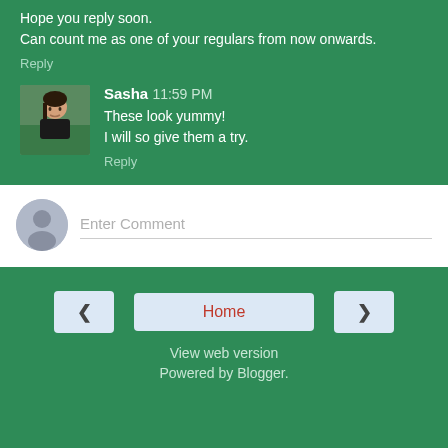Hope you reply soon.
Can count me as one of your regulars from now onwards.
Reply
Sasha  11:59 PM
[Figure (photo): Avatar photo of Sasha, a woman outdoors]
These look yummy!
I will so give them a try.
Reply
Enter Comment
Home
View web version
Powered by Blogger.